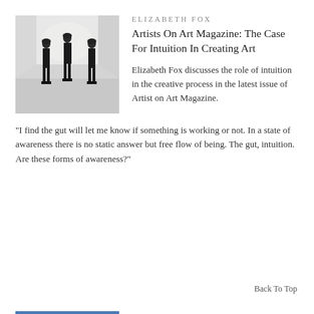[Figure (illustration): Three figures in black standing in a minimalist white interior space, viewed from behind.]
ELIZABETH FOX
Artists On Art Magazine: The Case For Intuition In Creating Art
Elizabeth Fox discusses the role of intuition in the creative process in the latest issue of Artist on Art Magazine.
"I find the gut will let me know if something is working or not. In a state of awareness there is no static answer but free flow of being. The gut, intuition. Are these forms of awareness?"
Back To Top